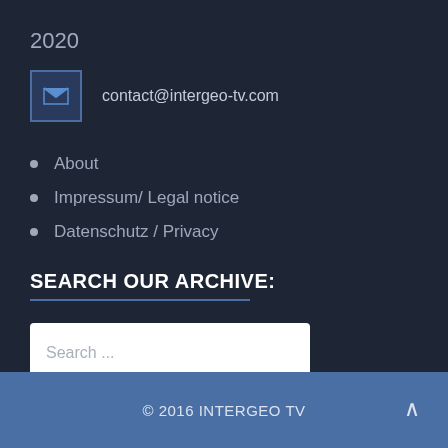2020
contact@intergeo-tv.com
About
Impressum/ Legal notice
Datenschutz / Privacy
SEARCH OUR ARCHIVE:
Search ...
© 2016 INTERGEO TV